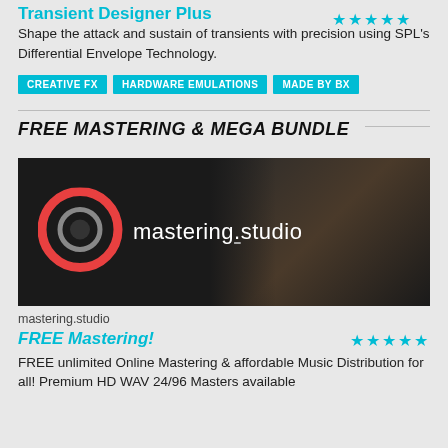Transient Designer Plus
Shape the attack and sustain of transients with precision using SPL's Differential Envelope Technology.
CREATIVE FX
HARDWARE EMULATIONS
MADE BY BX
FREE MASTERING & MEGA BUNDLE
[Figure (photo): Dark studio photo of a person wearing headphones with mastering.studio logo overlay showing a red circle icon and white text]
mastering.studio
FREE Mastering!
FREE unlimited Online Mastering & affordable Music Distribution for all! Premium HD WAV 24/96 Masters available